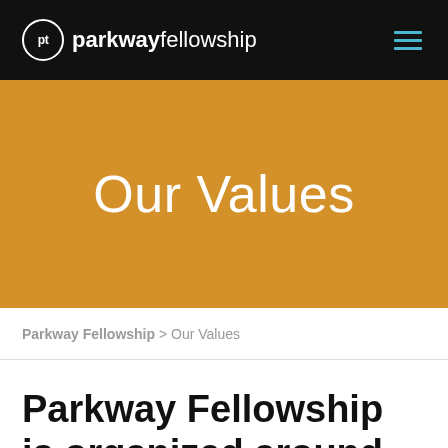pt parkwayfellowship
Our Values
Parkway Fellowship > Our Values
Parkway Fellowship is organized around the